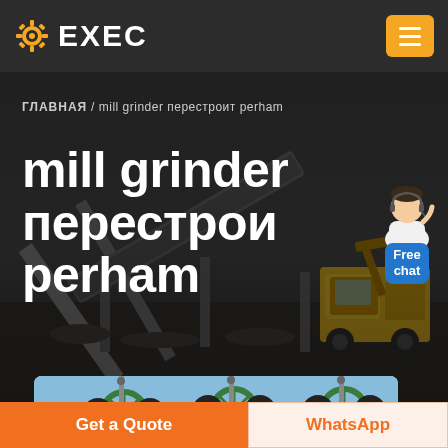EXEC
ГЛАВНАЯ / mill grinder перестроит perham
mill grinder перестрои perham
[Figure (screenshot): Industrial mining equipment and machinery at a site, dark moody background with conveyor belts and a yellow loader]
[Figure (illustration): Chat agent avatar with Free chat bubble in blue]
[Figure (photo): Close-up of green industrial mill grinder machine parts with black balls]
Get a Quote
WhatsApp